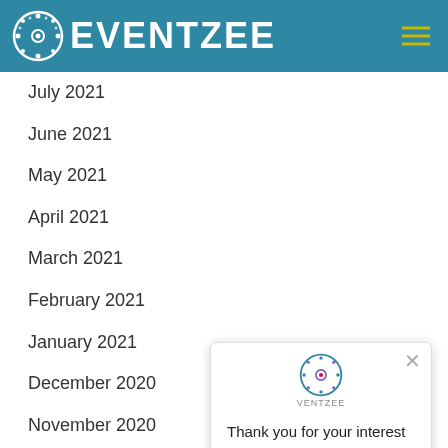EVENTZEE
July 2021
June 2021
May 2021
April 2021
March 2021
February 2021
January 2021
December 2020
November 2020
October 2020
September 2020
July 2020
June 2020
April 2020
[Figure (screenshot): Popup dialog with Eventzee logo and message: Thank you for your interest in Eventzee!]
[Figure (screenshot): Purple chat bubble button in bottom right corner]